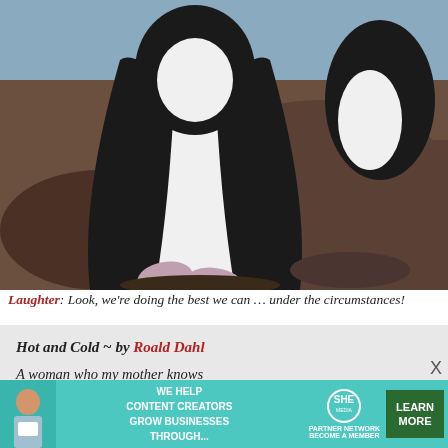[Figure (photo): Close-up photograph of a penguin standing on rocky ground, showing its white belly and feet/flippers, with another penguin partially visible in the background]
Laughter: Look, we're doing the best we can … under the circumstances!
Hot and Cold ~ by Roald Dahl
A woman who my mother knows
Came in and took off all her clothes.

Said I, not being very old,
[Figure (infographic): Advertisement banner for SHE Media Partner Network: 'We help content creators grow businesses through...' with a LEARN MORE button]